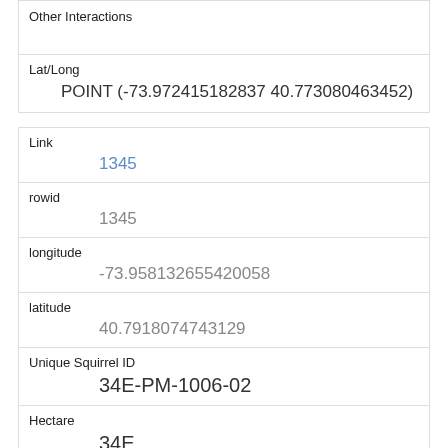| Other Interactions |  |
| Lat/Long | POINT (-73.972415182837 40.773080463452) |
| Link | 1345 |
| rowid | 1345 |
| longitude | -73.958132655420058 |
| latitude | 40.7918074743129 |
| Unique Squirrel ID | 34E-PM-1006-02 |
| Hectare | 34E |
| Shift | PM |
| Date | 10062018 |